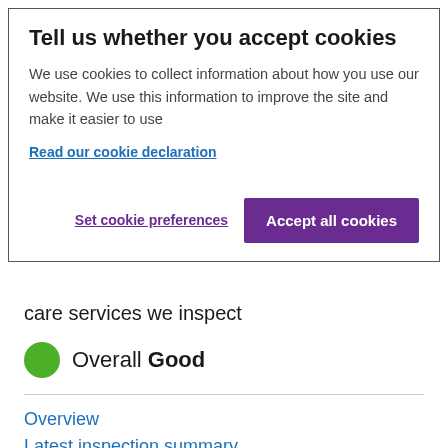Tell us whether you accept cookies
We use cookies to collect information about how you use our website. We use this information to improve the site and make it easier to use
Read our cookie declaration
Set cookie preferences    Accept all cookies
care services we inspect
Overall Good
Overview
Latest inspection summary